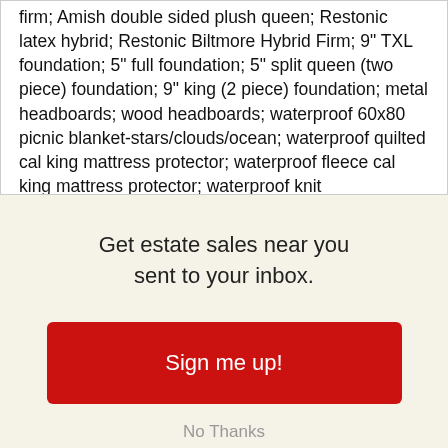firm; Amish double sided plush queen; Restonic latex hybrid; Restonic Biltmore Hybrid Firm; 9" TXL foundation; 5" full foundation; 5" split queen (two piece) foundation; 9" king (2 piece) foundation; metal headboards; wood headboards; waterproof 60x80 picnic blanket-stars/clouds/ocean; waterproof quilted cal king mattress protector; waterproof fleece cal king mattress protector; waterproof knit
Get estate sales near you sent to your inbox.
Sign me up!
No Thanks